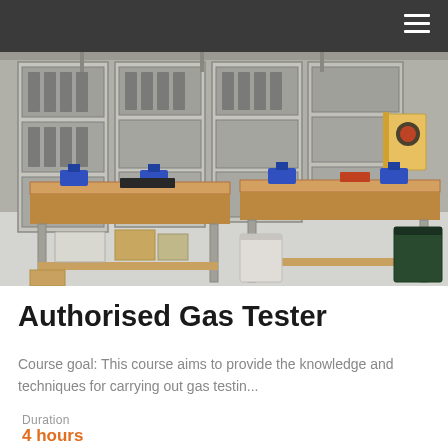[Figure (photo): Navigation bar with dark gray background and hamburger menu icon in top-right corner]
[Figure (photo): Workshop/laboratory room with metal workbenches fitted with blue bench vises, metal shelving units with equipment in background, storage bins and boxes underneath benches, trash cans on floor, and a spiral-bound book on a stand in the upper right]
Authorised Gas Tester
Course goal: This course aims to provide the knowledge and techniques for carrying out gas testin...
Duration
4 hours